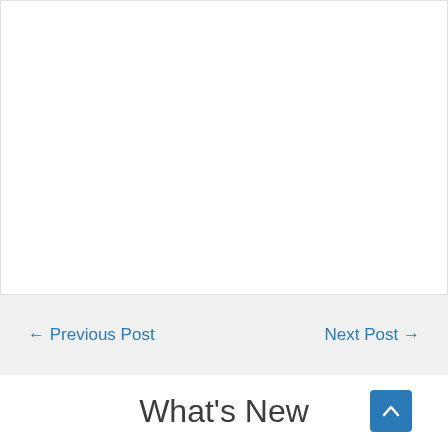← Previous Post
Next Post →
What's New